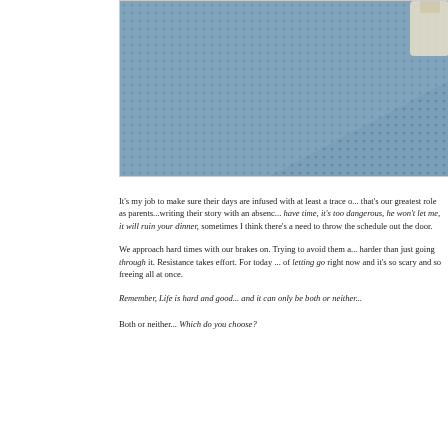[Figure (photo): Close-up photograph of a blue perforated/dotted rubber or fabric mat surface, with a small object (possibly a bottle) partially visible in the upper right corner.]
It's my job to make sure their days are infused with at least a trace o... that's our greatest role as parents...writing their story with an absenc... have time, it's too dangerous, he won't let me, it will ruin your dinner,... sometimes I think there's a need to throw the schedule out the door.
We approach hard times with our brakes on. Trying to avoid them a... harder than just going through it. Resistance takes effort. For today ... of letting go right now and it's so scary and so freeing all at once.
Remember, Life is hard and good... and it can only be both or neither...
Both or neither... Which do you choose?